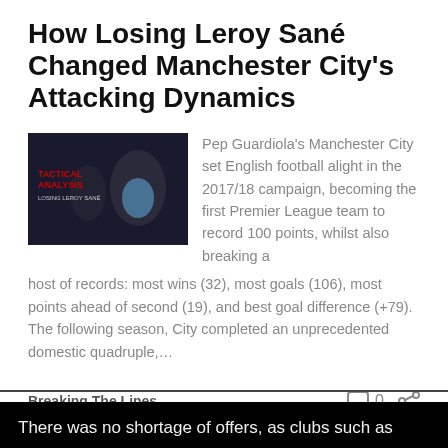How Losing Leroy Sané Changed Manchester City's Attacking Dynamics
[Figure (photo): Thumbnail image with dark background showing two people and text 'TACTICAL ANALYSIS LOSING LEROY SANE' in red and white]
Pep Guardiola's Manchester City set English football alight in the 2017/18 campaign, becoming the first Premier League team to record 100 points, whilst also breaking a host of records: most wins (32), most goals (106), most points ahead of second (19), and best goal difference (+79). The following season, City completed an unprecedented domestic quadruple,…
Breaking The Lines
There was no shortage of offers, as clubs such as